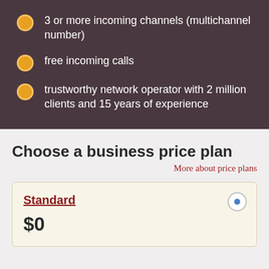3 or more incoming channels (multichannel number)
free incoming calls
trustworthy network operator with 2 million clients and 15 years of experience
Choose a business price plan
More about price plans
Standard
$0